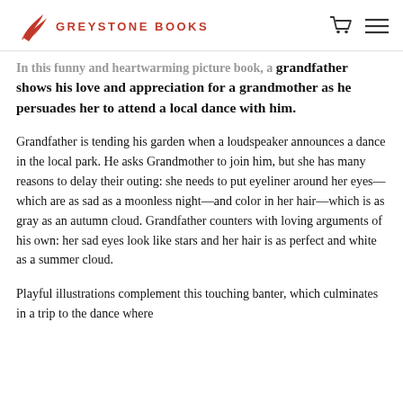GREYSTONE BOOKS
In this funny and heartwarming picture book, a grandfather shows his love and appreciation for a grandmother as he persuades her to attend a local dance with him.
Grandfather is tending his garden when a loudspeaker announces a dance in the local park. He asks Grandmother to join him, but she has many reasons to delay their outing: she needs to put eyeliner around her eyes—which are as sad as a moonless night—and color in her hair—which is as gray as an autumn cloud. Grandfather counters with loving arguments of his own: her sad eyes look like stars and her hair is as perfect and white as a summer cloud.
Playful illustrations complement this touching banter, which culminates in a trip to the dance where